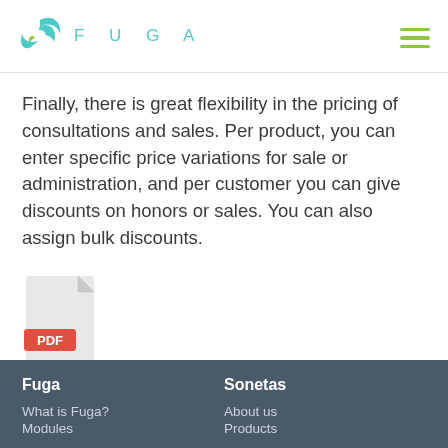FUGA
Finally, there is great flexibility in the pricing of consultations and sales. Per product, you can enter specific price variations for sale or administration, and per customer you can give discounts on honors or sales. You can also assign bulk discounts.
[Figure (illustration): PDF file icon with red label 'PDF']
Fuga | Sonetas | What is Fuga? | Modules | About us | Products